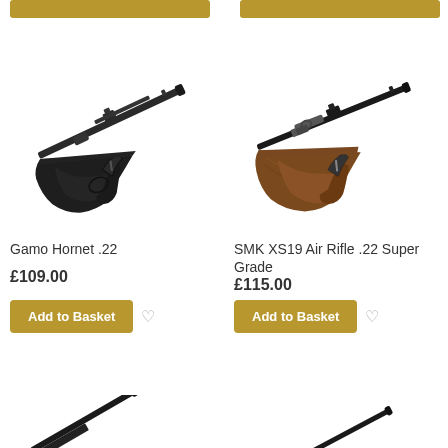[Figure (illustration): Partial view of two gold 'Add to Basket' buttons at the top of the page]
[Figure (photo): Gamo Hornet .22 air rifle with black synthetic stock, shown diagonally]
Gamo Hornet .22
£109.00
Add to Basket
[Figure (photo): SMK XS19 Air Rifle .22 Super Grade with wooden stock, shown diagonally]
SMK XS19 Air Rifle .22 Super Grade
£115.00
Add to Basket
[Figure (photo): Partial view of two more air rifles at the bottom of the page, cropped]